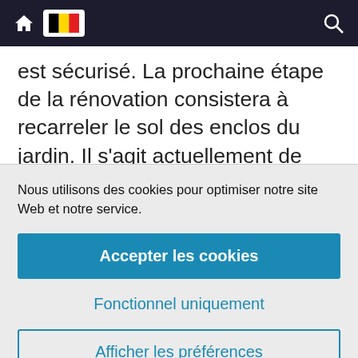Navigation bar with home icon, Belgian flag, and search icon
est sécurisé. La prochaine étape de la rénovation consistera à recarreler le sol des enclos du jardin. Il s'agit actuellement de béton inégal et sale, difficile à nettoyer et peu hygiénique. Nous installerons également des armoires de cuisine et des plans de travail...
Nous utilisons des cookies pour optimiser notre site Web et notre service.
Accepter les cookies
Fonctionnel uniquement
Afficher les préférences